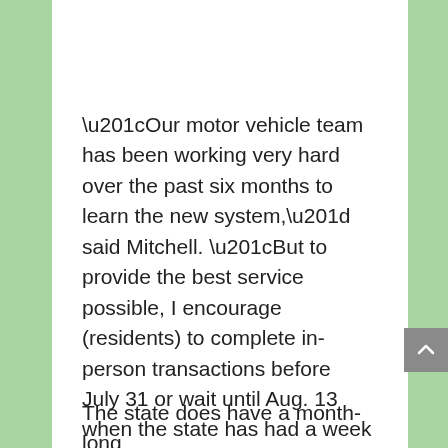“Our motor vehicle team has been working very hard over the past six months to learn the new system,” said Mitchell. “But to provide the best service possible, I encourage (residents) to complete in-person transactions before July 31 or wait until Aug. 13 when the state has had a week or so to work in the new DRIVES system.”
The state does have a month-long